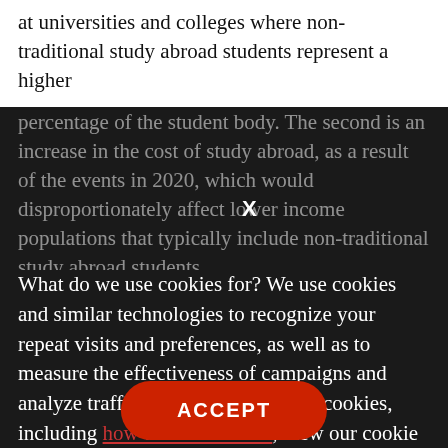at universities and colleges where non-traditional study abroad students represent a higher
percentage of the student body. The second is an increase in the cost of study abroad, as a result of the events in 2020, which would disproportionately affect lower income populations that typically include non-traditional study abroad students.
What do we use cookies for? We use cookies and similar technologies to recognize your repeat visits and preferences, as well as to measure the effectiveness of campaigns and analyze traffic. To learn more about cookies, including how to disable them, view our cookie policy . By clicking "Accept" on this banner, you consent to the use of cookies unless you have disabled them.
The year 2020 will be long remembered on American university campuses because of the impact of COVID-19 and its lasting effects on global learning. Many global program offices have suggested they are "pressing" as international travel ... Director of Study Abroad at Arizona State University, however, suggests, "The future of education will be clear when we are ... not." As we look ahead, 2021 may very well be a defining year for